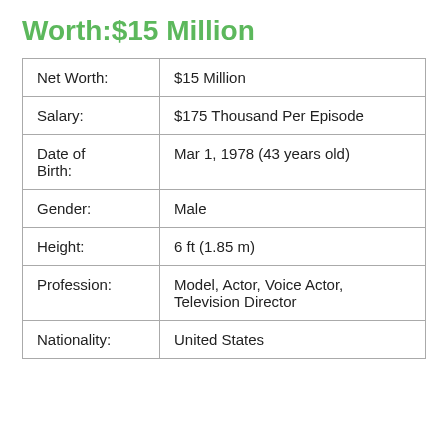Worth:$15 Million
| Net Worth: | $15 Million |
| Salary: | $175 Thousand Per Episode |
| Date of Birth: | Mar 1, 1978 (43 years old) |
| Gender: | Male |
| Height: | 6 ft (1.85 m) |
| Profession: | Model, Actor, Voice Actor, Television Director |
| Nationality: | United States |